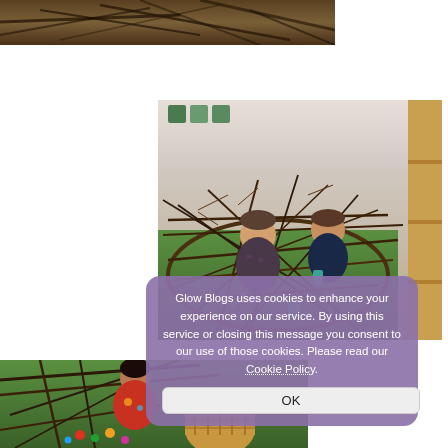[Figure (photo): Partial photo at top of page showing twigs and branches, cropped view of a natural nest-like structure]
[Figure (photo): Photo of two children sitting inside a large bird-nest made of branches and twigs on green artificial grass, with wooden shelving visible to the right]
[Figure (photo): Partial photo at bottom showing a child with dark hair sitting in a twig nest structure with colorful items and a wicker basket]
Glow Blogs uses cookies to enhance your experience on our service. By using this service or closing this message you consent to our use of those cookies. Please read our Cookie Policy.
OK